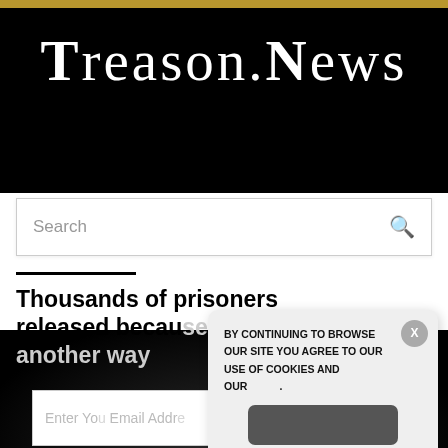Treason.news
Search
Thousands of prisoners released because of COVID – another way
BY CONTINUING TO BROWSE OUR SITE YOU AGREE TO OUR USE OF COOKIES AND OUR .
Enter Your Email Address